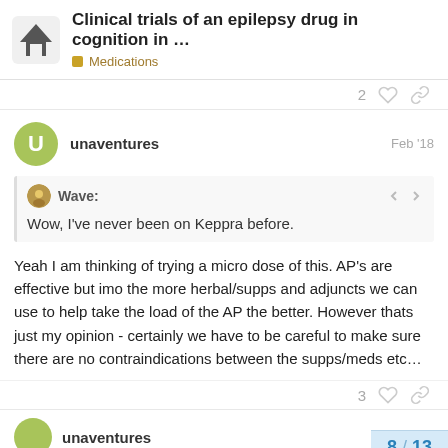Clinical trials of an epilepsy drug in cognition in ... | Medications
2
unaventures Feb '18
Wave: Wow, I've never been on Keppra before.
Yeah I am thinking of trying a micro dose of this. AP's are effective but imo the more herbal/supps and adjuncts we can use to help take the load of the AP the better. However thats just my opinion - certainly we have to be careful to make sure there are no contraindications between the supps/meds etc…
3
8 / 13
unaventures